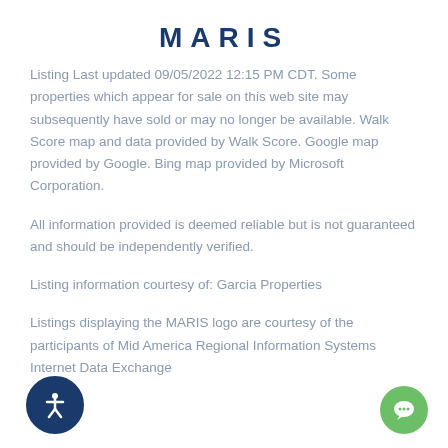MARIS
Listing Last updated 09/05/2022 12:15 PM CDT. Some properties which appear for sale on this web site may subsequently have sold or may no longer be available. Walk Score map and data provided by Walk Score. Google map provided by Google. Bing map provided by Microsoft Corporation.
All information provided is deemed reliable but is not guaranteed and should be independently verified.
Listing information courtesy of: Garcia Properties
Listings displaying the MARIS logo are courtesy of the participants of Mid America Regional Information Systems Internet Data Exchange